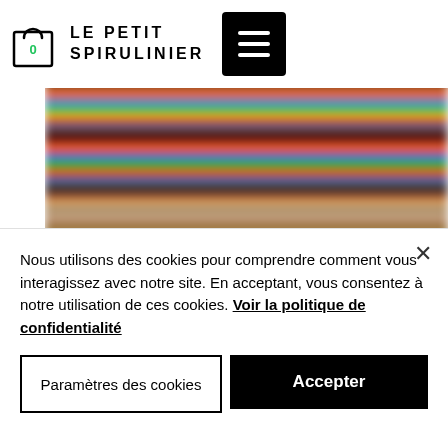[Figure (logo): Shopping cart icon with the number 0 inside, serving as a cart button]
LE PETIT SPIRULINIER
[Figure (other): Hamburger menu button (three horizontal lines) on black background]
[Figure (photo): Blurred photograph of colorful products on dark shelves]
Nous utilisons des cookies pour comprendre comment vous interagissez avec notre site. En acceptant, vous consentez à notre utilisation de ces cookies. Voir la politique de confidentialité
Paramètres des cookies
Accepter